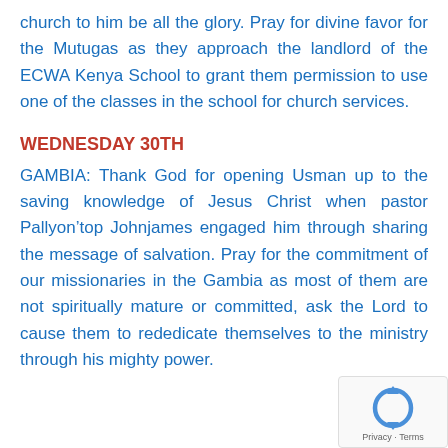church to him be all the glory. Pray for divine favor for the Mutugas as they approach the landlord of the ECWA Kenya School to grant them permission to use one of the classes in the school for church services.
WEDNESDAY 30TH
GAMBIA: Thank God for opening Usman up to the saving knowledge of Jesus Christ when pastor Pallyon’top Johnjames engaged him through sharing the message of salvation. Pray for the commitment of our missionaries in the Gambia as most of them are not spiritually mature or committed, ask the Lord to cause them to rededicate themselves to the ministry through his mighty power.